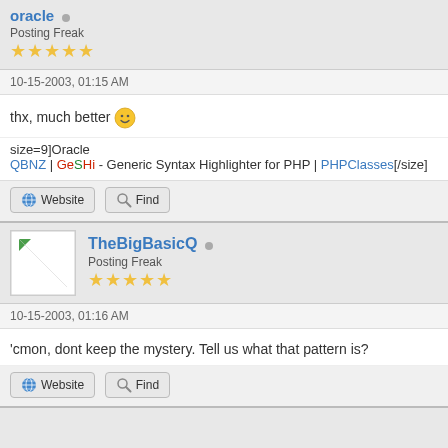oracle • Posting Freak ★★★★★
10-15-2003, 01:15 AM
thx, much better 😀
size=9]Oracle
QBNZ | GeSHi - Generic Syntax Highlighter for PHP | PHPClasses[/size]
Website   Find
TheBigBasicQ • Posting Freak ★★★★★
10-15-2003, 01:16 AM
'cmon, dont keep the mystery. Tell us what that pattern is?
Website   Find